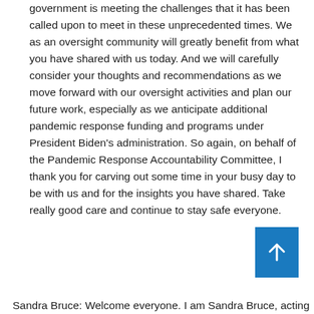government is meeting the challenges that it has been called upon to meet in these unprecedented times. We as an oversight community will greatly benefit from what you have shared with us today. And we will carefully consider your thoughts and recommendations as we move forward with our oversight activities and plan our future work, especially as we anticipate additional pandemic response funding and programs under President Biden's administration. So again, on behalf of the Pandemic Response Accountability Committee, I thank you for carving out some time in your busy day to be with us and for the insights you have shared. Take really good care and continue to stay safe everyone.
Sandra Bruce: Welcome everyone. I am Sandra Bruce, acting